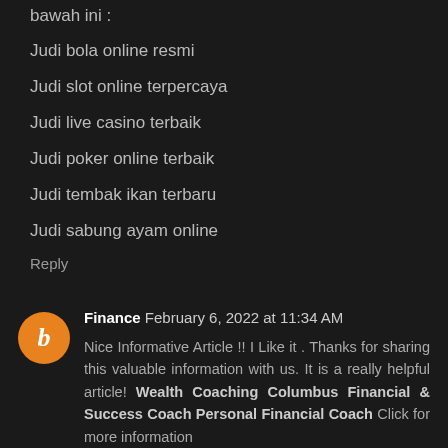bawah ini :
Judi bola online resmi
Judi slot online terpercaya
Judi live casino terbaik
Judi poker online terbaik
Judi tembak ikan terbaru
Judi sabung ayam online
Reply
Finance  February 6, 2022 at 11:34 AM
Nice Informative Article !! I Like it . Thanks for sharing this valuable information with us. It is a really helpful article! Wealth Coaching Columbus Financial & Success Coach Personal Financial Coach Click for more information